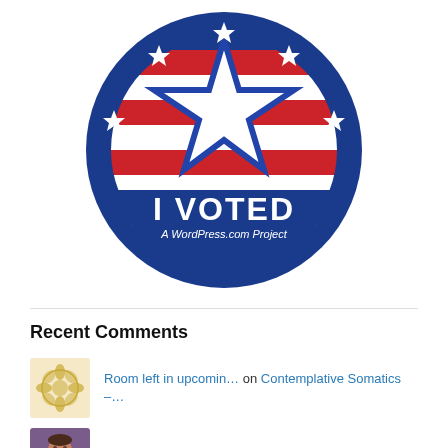[Figure (illustration): Circular 'I Voted' badge with American flag design, large white star in center, surrounded by smaller stars on dark blue background. Text reads 'I VOTED' and 'A WordPress.com Project' at the bottom.]
Recent Comments
Room left in upcomin… on Contemplative Somatics –…
Kirby Moore on Brightness and Dullness